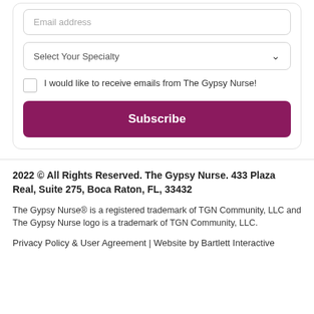Email address
Select Your Specialty
I would like to receive emails from The Gypsy Nurse!
Subscribe
2022 © All Rights Reserved. The Gypsy Nurse. 433 Plaza Real, Suite 275, Boca Raton, FL, 33432
The Gypsy Nurse® is a registered trademark of TGN Community, LLC and The Gypsy Nurse logo is a trademark of TGN Community, LLC.
Privacy Policy & User Agreement | Website by Bartlett Interactive